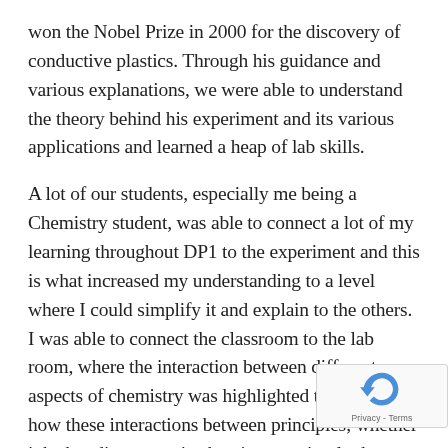won the Nobel Prize in 2000 for the discovery of conductive plastics. Through his guidance and various explanations, we were able to understand the theory behind his experiment and its various applications and learned a heap of lab skills.
A lot of our students, especially me being a Chemistry student, was able to connect a lot of my learning throughout DP1 to the experiment and this is what increased my understanding to a level where I could simplify it and explain to the others. I was able to connect the classroom to the lab room, where the interaction between different aspects of chemistry was highlighted to me and how these interactions between principles; whether it be bonding, organic chemistry or simply the properties of elements put together, its applications were varied going battery cells to speakers to smart glasses. Not only